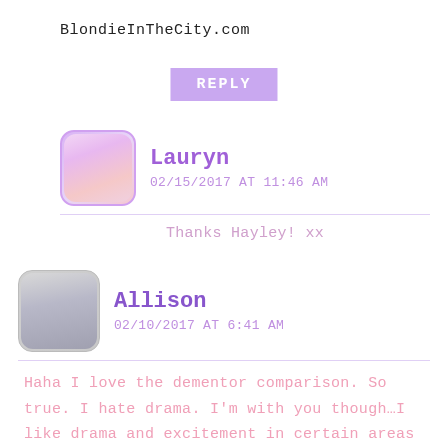BlondieInTheCity.com
REPLY
Lauryn
02/15/2017 AT 11:46 AM
Thanks Hayley! xx
Allison
02/10/2017 AT 6:41 AM
Haha I love the dementor comparison. So true. I hate drama. I'm with you though…I like drama and excitement in certain areas